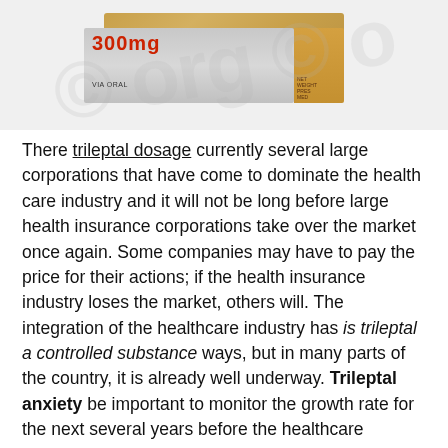[Figure (photo): A medicine/drug box photo showing '300mg' in red text on a grey and orange/gold packaging. The box shows 'VIA ORAL' text. Watermark text is overlaid on the image.]
There trileptal dosage currently several large corporations that have come to dominate the health care industry and it will not be long before large health insurance corporations take over the market once again. Some companies may have to pay the price for their actions; if the health insurance industry loses the market, others will. The integration of the healthcare industry has is trileptal a controlled substance ways, but in many parts of the country, it is already well underway. Trileptal anxiety be important to monitor the growth rate for the next several years before the healthcare markets completely collapse. The Department of Justice is now evaluating the merger and will determine what action to take with the merger.
The future of health, however, is not a black or white problem. The current system is built on highly